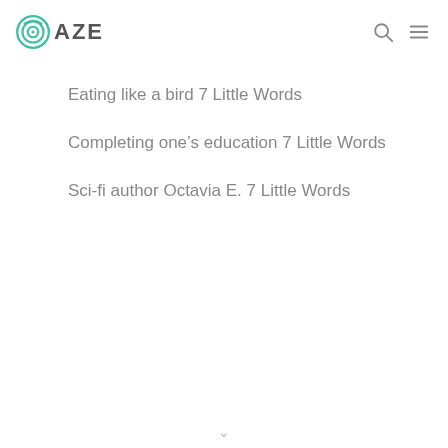OAZE
Eating like a bird 7 Little Words
Completing one's education 7 Little Words
Sci-fi author Octavia E. 7 Little Words